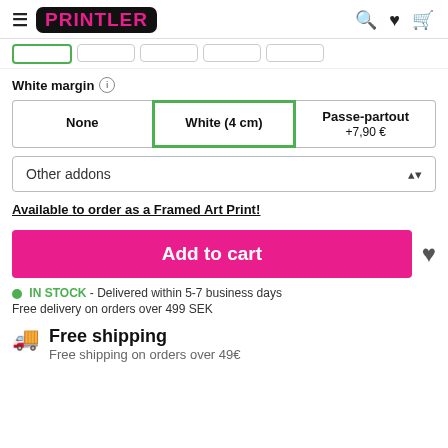PRINTLER
White margin (i)
None | White (4 cm) | Passe-partout +7,90 €
Other addons
Available to order as a Framed Art Print!
Add to cart
IN STOCK - Delivered within 5-7 business days
Free delivery on orders over 499 SEK
Free shipping
Free shipping on orders over 49€